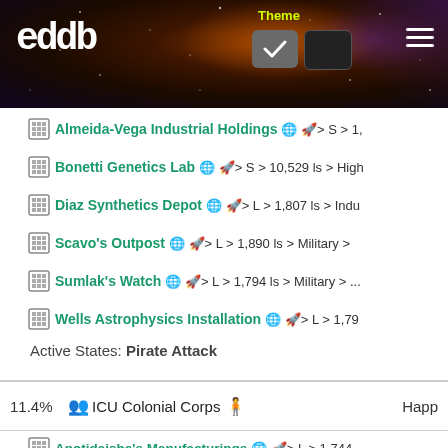eddb — Theme toggle, hamburger menu
🏢 Almeida-Vega Industrial Holdings 🌐 🚀 > S > 1,...
🏢 Bonetti Genetics Lab 🌐 🚀 > S > 10,529 ls > High...
🏢 Diaz Synthetics Depot 🌐 🚀 > L > 1,807 ls > Indu...
🏢 Scavo's Outpost 🌐 🚀 > L > 1,890 ls > Military >
🏢 Sumlak's Watch 🌐 🚀 > L > 1,794 ls > Military > ...
🏢 Wells Astrophysics Installation 🌐 🚀 > L > 1,79...
Active States: Pirate Attack
11.4% 👥 ICU Colonial Corps 🧍 Happ...
🏢 Anotidaishe's Manufacturings 🌐 🚀 > L > 1,744
🏢 Arai's Command 🌐 🚀 > L > 10,488 ls > Military
🏢 Bunyan Mining Prospect 🌐 🚀 > L > 1,822 ls > E
🏢 Ferreira Mining Territory 🌐 🚀 > L > 1,822 ls > E
🏢 Kapoor Excavation Territory 🌐 🚀 > S > 1,902 ls
🏢 Wells Extraction Base 🌐 🚀 > M > 1,891 ls > Ext...